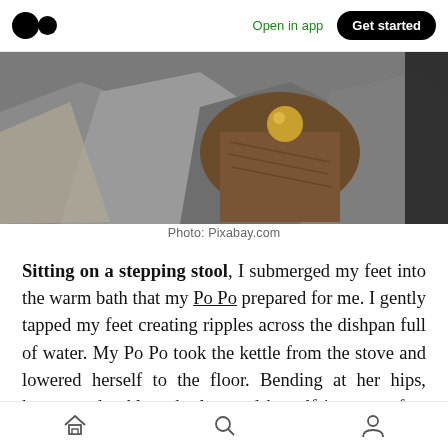Medium app header with logo, Open in app, Get started
[Figure (photo): Photo of rocks and a wooden stump with a golden ball on top, outdoors]
Photo: Pixabay.com
Sitting on a stepping stool, I submerged my feet into the warm bath that my Po Po prepared for me. I gently tapped my feet creating ripples across the dishpan full of water. My Po Po took the kettle from the stove and lowered herself to the floor. Bending at her hips, knees, and ankles, she lowered herself into a perfect squat to pour
Bottom navigation: home, search, profile